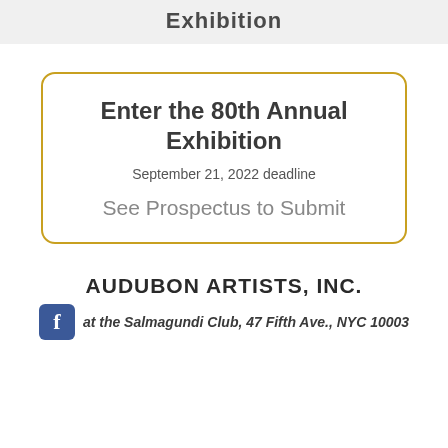Exhibition
Enter the 80th Annual Exhibition
September 21, 2022 deadline
See Prospectus to Submit
AUDUBON ARTISTS, INC.
at the Salmagundi Club, 47 Fifth Ave., NYC 10003